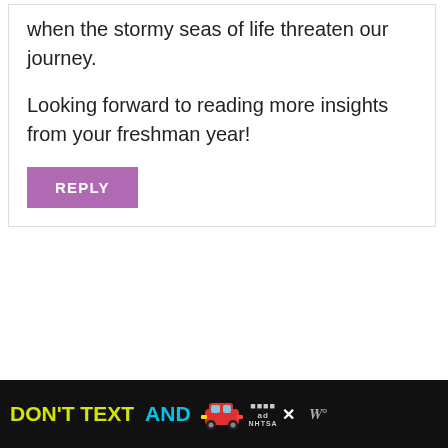when the stormy seas of life threaten our journey.
Looking forward to reading more insights from your freshman year!
REPLY
Emily
May 29, 2019 at 5:07 pm
[Figure (infographic): Ad banner: DON'T TEXT AND [car emoji] with ad logo and NHTSA branding on black background]